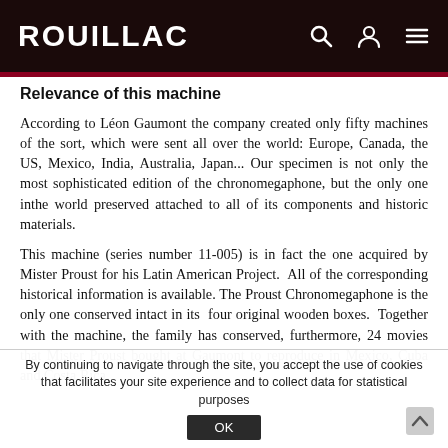ROUILLAC
Relevance of this machine
According to Léon Gaumont the company created only fifty machines of the sort, which were sent all over the world: Europe, Canada, the US, Mexico, India, Australia, Japan... Our specimen is not only the most sophisticated edition of the chronomegaphone, but the only one inthe world preserved attached to all of its components and historic materials.
This machine (series number 11-005) is in fact the one acquired by Mister Proust for his Latin American Project. All of the corresponding historical information is available. The Proust Chronomegaphone is the only one conserved intact in its four original wooden boxes. Together with the machine, the family has conserved, furthermore, 24 movies that Mister Proust bought at Gaumont to reproduce in Mexico, Cuba and Costa Rica
By continuing to navigate through the site, you accept the use of cookies that facilitates your site experience and to collect data for statistical purposes